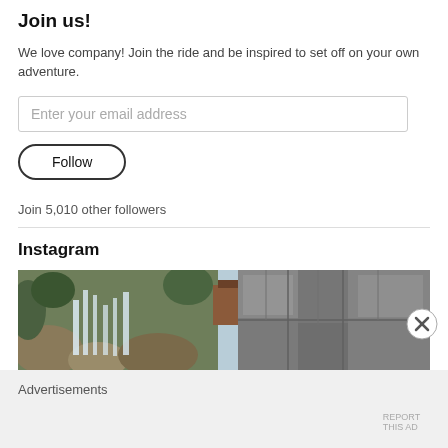Join us!
We love company! Join the ride and be inspired to set off on your own adventure.
Enter your email address
Follow
Join 5,010 other followers
Instagram
[Figure (photo): A waterfall flowing over large rocks with green foliage and a building visible in the background.]
Advertisements
REPORT THIS AD